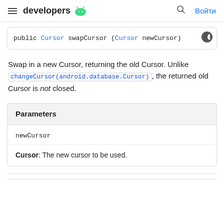≡ developers 🤖 🔍 Войти
public Cursor swapCursor (Cursor newCursor)
Swap in a new Cursor, returning the old Cursor. Unlike changeCursor(android.database.Cursor), the returned old Cursor is not closed.
| Parameters |
| --- |
| newCursor |
| Cursor: The new cursor to be used. |